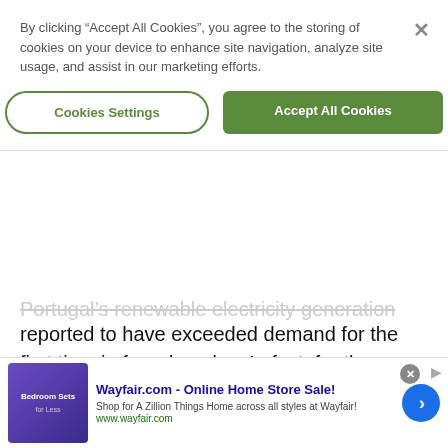By clicking “Accept All Cookies”, you agree to the storing of cookies on your device to enhance site navigation, analyze site usage, and assist in our marketing efforts.
Cookies Settings
Accept All Cookies
Portugal’s renewable electricity generation has been reported to have exceeded demand for the first time in four decades. In fact, for the month of March, renewables supplied 103.6 percent of the country’s electricity consumption.
[Figure (photo): Article card image showing a crowd of people, with IFLScience logo and 'Top Articles' badge overlay, and a progress bar.]
Wayfair.com - Online Home Store Sale! Shop for A Zillion Things Home across all styles at Wayfair! www.wayfair.com